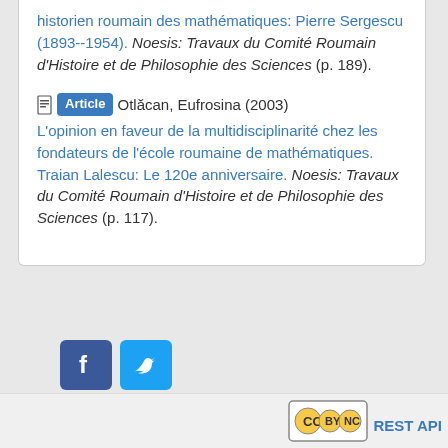historien roumain des mathématiques: Pierre Sergescu (1893--1954). Noesis: Travaux du Comité Roumain d'Histoire et de Philosophie des Sciences (p. 189).
Article Otlăcan, Eufrosina (2003) L'opinion en faveur de la multidisciplinarité chez les fondateurs de l'école roumaine de mathématiques. Traian Lalescu: Le 120e anniversaire. Noesis: Travaux du Comité Roumain d'Histoire et de Philosophie des Sciences (p. 117).
[Figure (illustration): Facebook and Twitter social share icons]
[Figure (logo): Creative Commons BY-NC license badge]
REST API